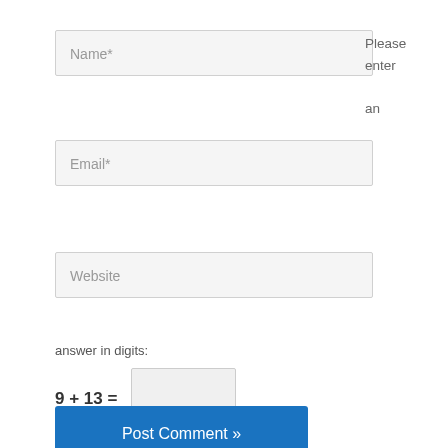[Figure (screenshot): Web form with Name, Email, Website input fields, a math CAPTCHA (9 + 13 =), and a Post Comment button. A validation message 'Please enter an' appears to the right.]
Please enter an
answer in digits:
9 + 13 =
Post Comment »